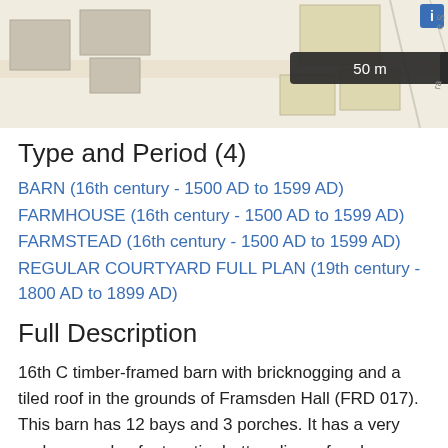[Figure (map): Aerial/street map view showing building footprints and roads, with a scale bar reading '50 m' and a 'MousePosition' label in dark overlay at the top.]
Type and Period (4)
BARN (16th century - 1500 AD to 1599 AD)
FARMHOUSE (16th century - 1500 AD to 1599 AD)
FARMSTEAD (16th century - 1500 AD to 1599 AD)
REGULAR COURTYARD FULL PLAN (19th century - 1800 AD to 1899 AD)
Full Description
16th C timber-framed barn with bricknogging and a tiled roof in the grounds of Framsden Hall (FRD 017). This barn has 12 bays and 3 porches. It has a very early example of a two-tier butt purlin roof and a rare example of a triangular ridge piece. Overall this roof is a fairly unique construction (S1).